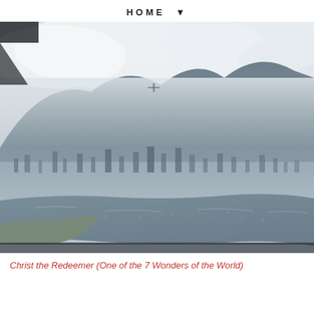HOME ▼
[Figure (photo): Aerial view of Rio de Janeiro, Brazil, showing the city, Botafogo Bay with boats, and misty mountains with clouds partially obscuring the Christ the Redeemer statue in the background.]
Christ the Redeemer (One of the 7 Wonders of the World)